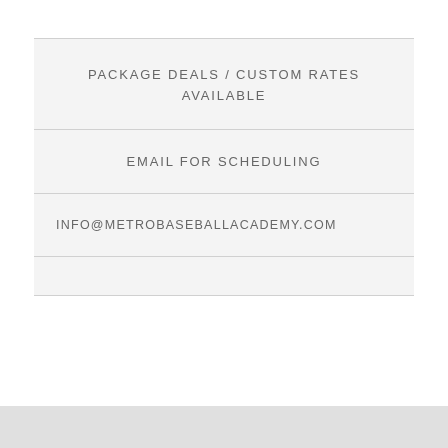PACKAGE DEALS / CUSTOM RATES AVAILABLE
EMAIL FOR SCHEDULING
INFO@METROBASEBALLACADEMY.COM